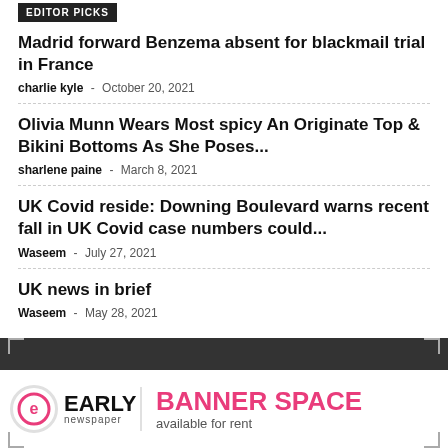EDITOR PICKS
Madrid forward Benzema absent for blackmail trial in France
charlie kyle - October 20, 2021
Olivia Munn Wears Most spicy An Originate Top & Bikini Bottoms As She Poses...
sharlene paine - March 8, 2021
UK Covid reside: Downing Boulevard warns recent fall in UK Covid case numbers could...
Waseem - July 27, 2021
UK news in brief
Waseem - May 28, 2021
[Figure (logo): Early Newspaper logo with BANNER SPACE available for rent text]